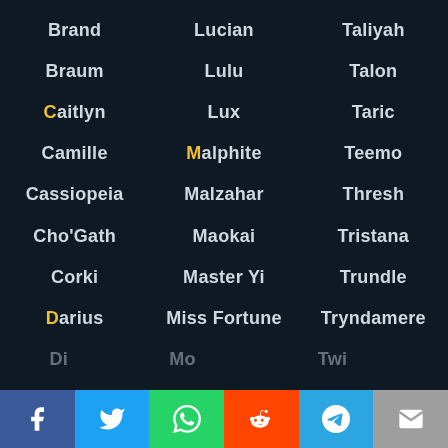Brand
Lucian
Taliyah
Braum
Lulu
Talon
Caitlyn
Lux
Taric
Camille
Malphite
Teemo
Cassiopeia
Malzahar
Thresh
Cho'Gath
Maokai
Tristana
Corki
Master Yi
Trundle
Darius
Miss Fortune
Tryndamere
Diana (partial)
Mordekaiser (partial)
Twisted Fate (partial)
Share buttons: Facebook, Twitter, WhatsApp, Reddit, Telegram, Email